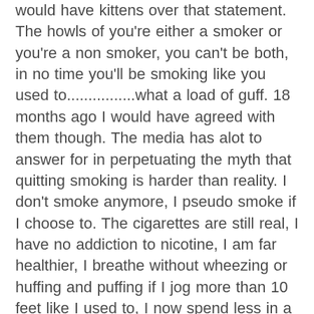would have kittens over that statement.  The howls of you're either a smoker or you're a non smoker, you can't be both, in no time you'll be smoking like you used to................what a load of guff.  18 months ago I would have agreed with them though.   The media has alot to answer for in perpetuating the myth that quitting smoking is harder than reality. I don't smoke anymore, I pseudo smoke if I choose to.  The cigarettes are still real,  I have no addiction to nicotine,  I am far healthier, I breathe without wheezing or huffing and puffing if I jog more than 10 feet like I used to, I now spend less in a week on cigarettes than most of you would on coffee and/or take away food in a day, let alone alcohol.  If you don't at least try my method of